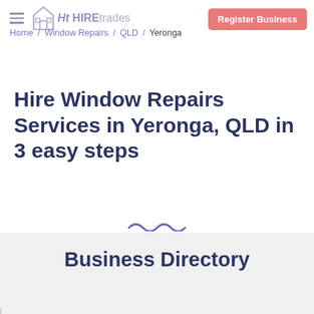Ht HIREtrades | Register Business | Home / Window Repairs / QLD / Yeronga
Hire Window Repairs Services in Yeronga, QLD in 3 easy steps
Business Directory